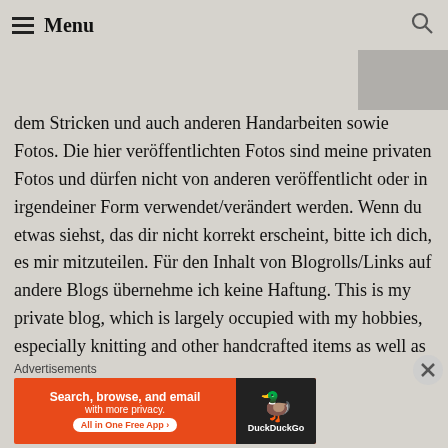Menu
dem Stricken und auch anderen Handarbeiten sowie Fotos. Die hier veröffentlichten Fotos sind meine privaten Fotos und dürfen nicht von anderen veröffentlicht oder in irgendeiner Form verwendet/verändert werden. Wenn du etwas siehst, das dir nicht korrekt erscheint, bitte ich dich, es mir mitzuteilen. Für den Inhalt von Blogrolls/Links auf andere Blogs übernehme ich keine Haftung. This is my private blog, which is largely occupied with my hobbies, especially knitting and other handcrafted items as well as my own photos. The photos that I publish here are my personal photos. They may not be altered or published by others If you see something that you believe is not right, please let me know. For Blogrolls and other Bloggers on my site I take no responsibility.
Advertisements
[Figure (screenshot): DuckDuckGo advertisement banner: 'Search, browse, and email with more privacy. All in One Free App' on orange background, with DuckDuckGo duck logo on dark right panel.]